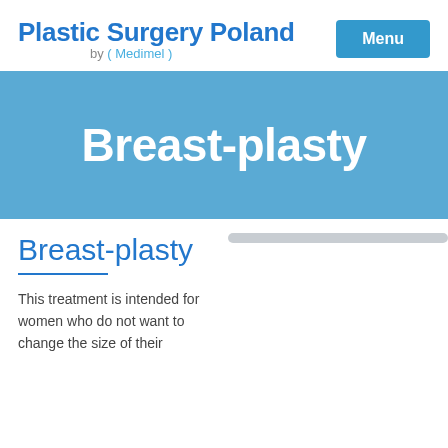Plastic Surgery Poland by ( Medimel )
Breast-plasty
Breast-plasty
This treatment is intended for women who do not want to change the size of their